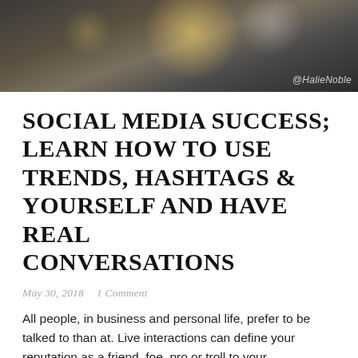[Figure (photo): Dark bokeh background photo with blurred lights, watermark '@HalieNoble' in bottom-right corner]
SOCIAL MEDIA SUCCESS; LEARN HOW TO USE TRENDS, HASHTAGS & YOURSELF AND HAVE REAL CONVERSATIONS
May 30, 2018   1 Comment
All people, in business and personal life, prefer to be talked to than at. Live interactions can define your reputation as a friend, foe, pro or troll to your communities far more so than the scheduled content you create and distribute across your "strategic #social